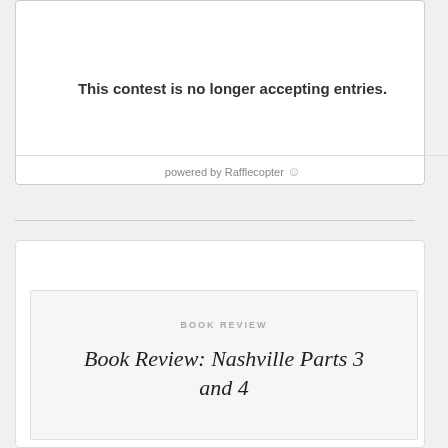This contest is no longer accepting entries.
powered by Rafflecopter
BOOK REVIEW
Book Review: Nashville Parts 3 and 4